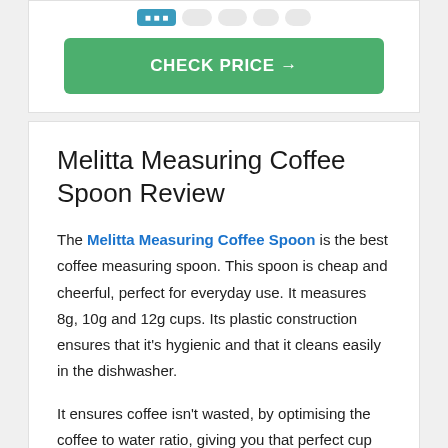[Figure (other): Rating/review stars row with colored buttons and a green CHECK PRICE button]
Melitta Measuring Coffee Spoon Review
The Melitta Measuring Coffee Spoon is the best coffee measuring spoon. This spoon is cheap and cheerful, perfect for everyday use. It measures 8g, 10g and 12g cups. Its plastic construction ensures that it's hygienic and that it cleans easily in the dishwasher.
It ensures coffee isn't wasted, by optimising the coffee to water ratio, giving you that perfect cup every time. The scoop is clearly marked, so it's easy to measure precisely.
If you're looking for the best marked measuring coffee